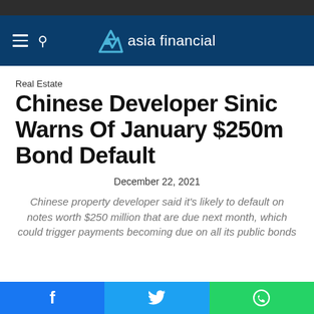asia financial
Real Estate
Chinese Developer Sinic Warns Of January $250m Bond Default
December 22, 2021
Chinese property developer said it's likely to default on notes worth $250 million that are due next month, which could trigger payments becoming due on all its public bonds